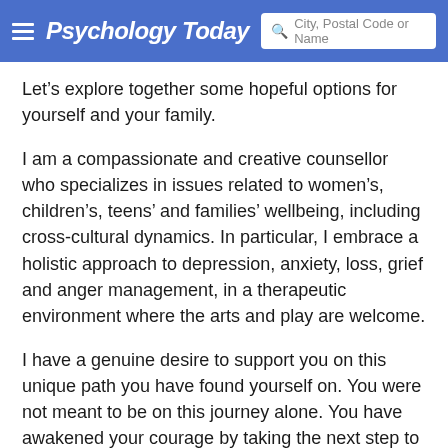Psychology Today | City, Postal Code or Name
Let’s explore together some hopeful options for yourself and your family.
I am a compassionate and creative counsellor who specializes in issues related to women’s, children’s, teens’ and families’ wellbeing, including cross-cultural dynamics. In particular, I embrace a holistic approach to depression, anxiety, loss, grief and anger management, in a therapeutic environment where the arts and play are welcome.
I have a genuine desire to support you on this unique path you have found yourself on. You were not meant to be on this journey alone. You have awakened your courage by taking the next step to finding help. I invite you to contact me today and together we will build up your inner strengths and explore practical ways to a